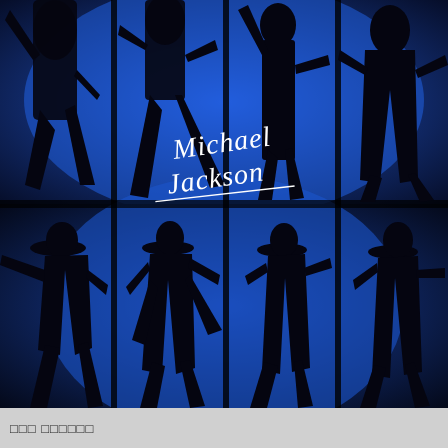[Figure (photo): Michael Jackson album cover or promotional image showing 8 silhouettes of a dancer (Michael Jackson) in different dance poses against a bright blue backlit background, arranged in a 2-row by 4-column grid with vertical dark dividers. The top-left quadrant center features a cursive white signature reading 'Michael Jackson'.]
□□□ □□□□□□